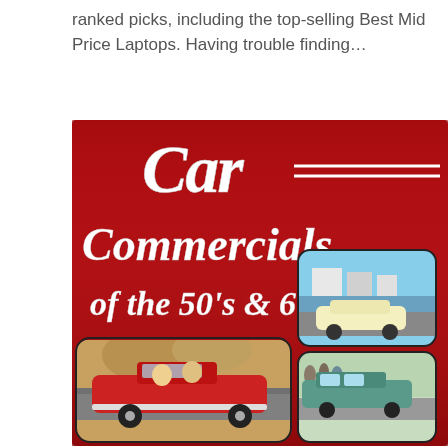ranked picks, including the top-selling Best Mid Price Laptops. Having trouble finding…
[Figure (photo): DVD cover for 'Car Commercials of the 50's & 60's' — a red background with vintage-style lettering spelling out 'Car Commercials of the 50's & 60's', with three rounded-corner inset photos of classic 1950s-1960s era automobiles including a red convertible, a cream-colored sedan near a marina, and a teal station wagon.]